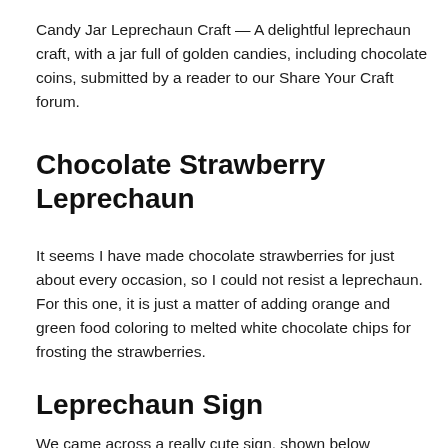Candy Jar Leprechaun Craft — A delightful leprechaun craft, with a jar full of golden candies, including chocolate coins, submitted by a reader to our Share Your Craft forum.
Chocolate Strawberry Leprechaun
It seems I have made chocolate strawberries for just about every occasion, so I could not resist a leprechaun. For this one, it is just a matter of adding orange and green food coloring to melted white chocolate chips for frosting the strawberries.
Leprechaun Sign
We came across a really cute sign, shown below